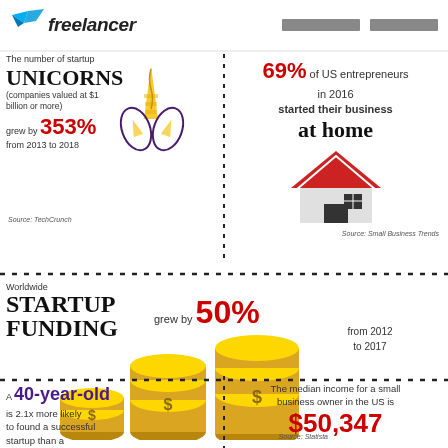freelancer (logo)
The number of startup UNICORNS (companies valued at $1 billion or more) grew by 353% from 2013 to 2018
Source: TechCrunch
69% of US entrepreneurs in 2016 started their business at home
Source: Small Business Trends
Worldwide STARTUP FUNDING grew by 50% from 2012 to 2017
Source: Statista
A 40-year-old is 2.1x more likely to found a successful startup than a
The median income for a small business owner in the US is $50,347